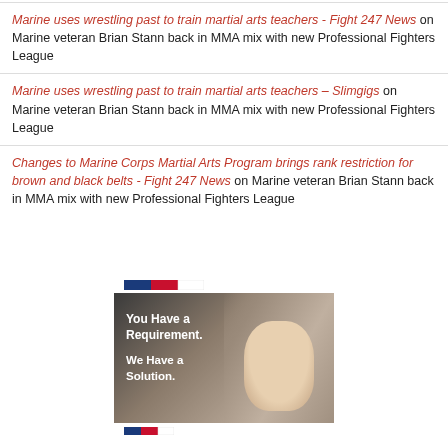Marine uses wrestling past to train martial arts teachers - Fight 247 News on Marine veteran Brian Stann back in MMA mix with new Professional Fighters League
Marine uses wrestling past to train martial arts teachers – Slimgigs on Marine veteran Brian Stann back in MMA mix with new Professional Fighters League
Changes to Marine Corps Martial Arts Program brings rank restriction for brown and black belts - Fight 247 News on Marine veteran Brian Stann back in MMA mix with new Professional Fighters League
[Figure (photo): Advertisement banner with red/blue/white accent stripe at top, dark background with a smiling young man, text reading 'You Have a Requirement. We Have a Solution.' in white bold text on left side, and a partial accent stripe at the bottom.]